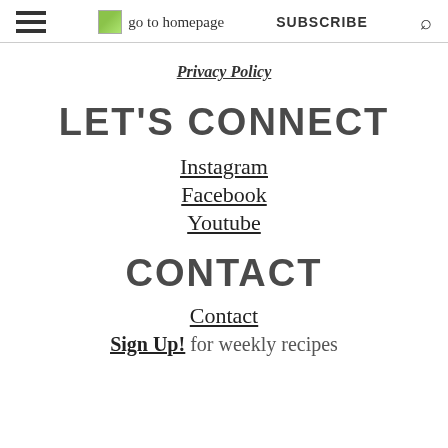go to homepage | SUBSCRIBE
Privacy Policy
LET'S CONNECT
Instagram
Facebook
Youtube
CONTACT
Contact
Sign Up! for weekly recipes